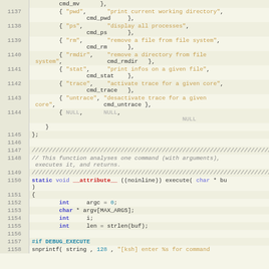Source code listing, lines 1137-1158, C programming language
1137: { "pwd", "print current working directory", cmd_pwd },
1138: { "ps", "display all processes", cmd_ps },
1139: { "rm", "remove a file from file system", cmd_rm },
1140: { "rmdir", "remove a directory from file system", cmd_rmdir },
1141: { "stat", "print infos on a given file", cmd_stat },
1142: { "trace", "activate trace for a given core", cmd_trace },
1143: { "untrace", "desactivate trace for a given core", cmd_untrace },
1144: { NULL, NULL, NULL },
1145: };
1146: (blank)
1147: ////...
1148: // This function analyses one command (with arguments), executes it, and returns.
1149: ////...
1150: static void __attribute__ ((noinline)) execute( char * bu)
1151: {
1152: int argc = 0;
1153: char * argv[MAX_ARGS];
1154: int i;
1155: int len = strlen(buf);
1156: (blank)
1157: #if DEBUG_EXECUTE
1158: snprintf( string , 128 , "[ksh] enter %s for command